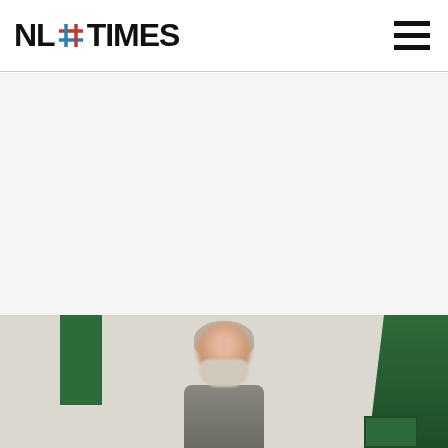NL#TIMES
[Figure (photo): Photograph of an elderly man with long grey-white hair and beard, face pixelated/blurred, standing outdoors near green structures]
[Figure (other): Advertisement/blank white area between header and photo]